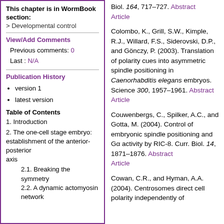This chapter is in WormBook section:
> Developmental control
View/Add Comments
Previous comments: 0
Last : N/A
Publication History
version 1
latest version
Table of Contents
1. Introduction
2. The one-cell stage embryo: establishment of the anterior-posterior axis
2.1. Breaking the symmetry
2.2. A dynamic actomyosin network
Biol. 164, 717–727. Abstract Article
Colombo, K., Grill, S.W., Kimple, R.J., Willard, F.S., Siderovski, D.P., and Gönczy, P. (2003). Translation of polarity cues into asymmetric spindle positioning in Caenorhabditis elegans embryos. Science 300, 1957–1961. Abstract Article
Couwenbergs, C., Spilker, A.C., and Gotta, M. (2004). Control of embryonic spindle positioning and Gα activity by RIC-8. Curr. Biol. 14, 1871–1876. Abstract Article
Cowan, C.R., and Hyman, A.A. (2004). Centrosomes direct cell polarity independently of